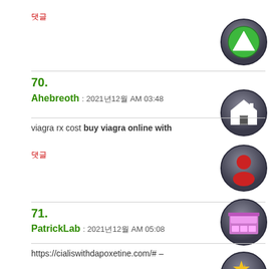댓글
[Figure (illustration): Circular dark gray button with green upward triangle/play icon]
70.
Ahebreoth : 2021년12월 AM 03:48
[Figure (illustration): Circular dark gray button with white house icon]
viagra rx cost buy viagra online with
댓글
[Figure (illustration): Circular dark gray button with red person/user icon]
71.
PatrickLab : 2021년12월 AM 05:08
[Figure (illustration): Circular dark gray button with pink/purple store/shop icon]
https://cialiswithdapoxetine.com/# –
[Figure (illustration): Circular dark gray button with yellow star and plus icon]
댓글